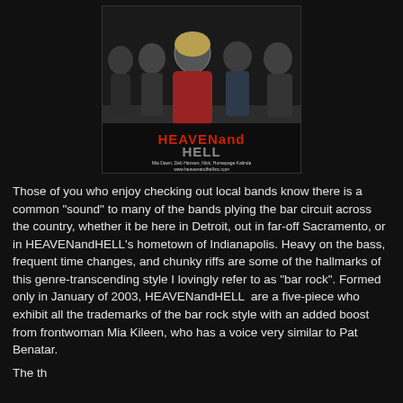[Figure (photo): Band photo of HEAVENandHELL, five members posed together, with large stylized red and grey text 'HEAVENandHELL' at the bottom and website www.heavenandhellinc.com]
Those of you who enjoy checking out local bands know there is a common "sound" to many of the bands plying the bar circuit across the country, whether it be here in Detroit, out in far-off Sacramento, or in HEAVENandHELL's hometown of Indianapolis. Heavy on the bass, frequent time changes, and chunky riffs are some of the hallmarks of this genre-transcending style I lovingly refer to as "bar rock". Formed only in January of 2003, HEAVENandHELL  are a five-piece who exhibit all the trademarks of the bar rock style with an added boost from frontwoman Mia Kileen, who has a voice very similar to Pat Benatar.
The th...